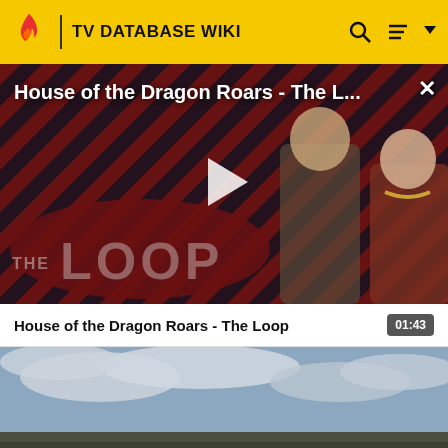TV DATABASE WIKI
[Figure (screenshot): Video thumbnail for 'House of the Dragon Roars - The L...' with play button overlay, diagonal red/black striped background, two characters in medieval costume, and 'THE LOOP' logo watermark]
House of the Dragon Roars - The L...
House of the Dragon Roars - The Loop  01:43
[Figure (screenshot): Second video thumbnail showing a cloudy sky landscape scene]